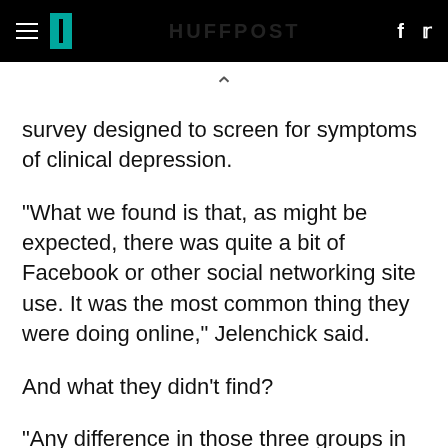HuffPost
survey designed to screen for symptoms of clinical depression.
"What we found is that, as might be expected, there was quite a bit of Facebook or other social networking site use. It was the most common thing they were doing online," Jelenchick said.
And what they didn't find?
"Any difference in those three groups in how likely they were to be depressed, or how depressed they were," she said.